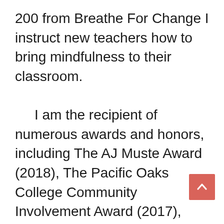200 from Breathe For Change I instruct new teachers how to bring mindfulness to their classroom.

    I am the recipient of numerous awards and honors, including The AJ Muste Award (2018), The Pacific Oaks College Community Involvement Award (2017), Center for Cooperative Media Award (2017) and was recognized by the City of Los Angeles for my service to Literary Los Angeles.

    My writing has been published in Time, LA Weekly, LA City Beat, Zocalo, Daily News, Next City, Truth Dig, 30 Seconds, and Elephant